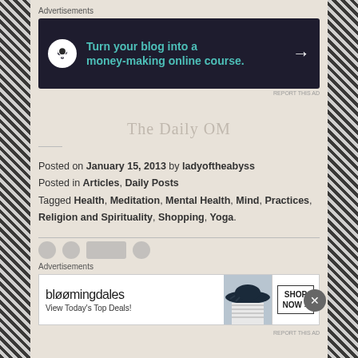Advertisements
[Figure (screenshot): Dark navy advertisement banner: bonsai tree icon on left, teal text 'Turn your blog into a money-making online course.' with white arrow on right]
The Daily OM
Posted on January 15, 2013 by ladyoftheabyss
Posted in Articles, Daily Posts
Tagged Health, Meditation, Mental Health, Mind, Practices, Religion and Spirituality, Shopping, Yoga.
Advertisements
[Figure (screenshot): Bloomingdales advertisement banner with logo, 'View Today's Top Deals!' text, woman in hat photo, and SHOP NOW button]